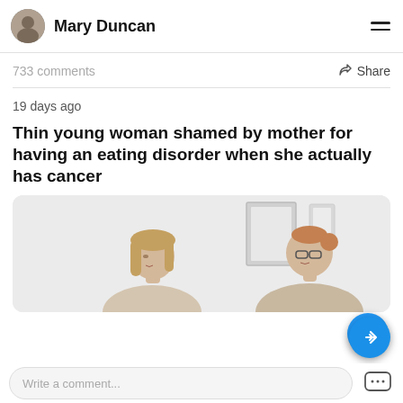Mary Duncan
733 comments
Share
19 days ago
Thin young woman shamed by mother for having an eating disorder when she actually has cancer
[Figure (photo): Two women sitting facing each other in a bright room; one with light brown straight hair, one with glasses and hair in a bun, with framed art on the wall behind them.]
Write a comment...